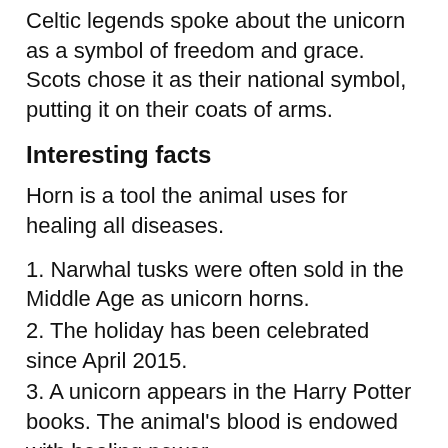Celtic legends spoke about the unicorn as a symbol of freedom and grace. Scots chose it as their national symbol, putting it on their coats of arms.
Interesting facts
Horn is a tool the animal uses for healing all diseases.
1. Narwhal tusks were often sold in the Middle Age as unicorn horns.
2. The holiday has been celebrated since April 2015.
3. A unicorn appears in the Harry Potter books. The animal's blood is endowed with healing power.
4. Unicorns are often placed as an emblem on clothes, and are a symbol of various children's organizations and events.
Celebrate this day with dignity, dress up in a unicorn costume or with unicorn makeup, read a corresponding story or children's book, or order a dessert with a unicorn